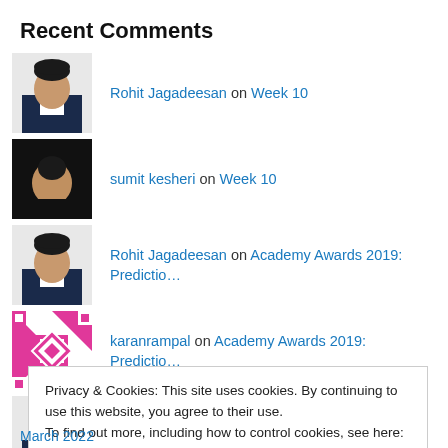Recent Comments
Rohit Jagadeesan on Week 10
sumit kesheri on Week 10
Rohit Jagadeesan on Academy Awards 2019: Predictio…
karanrampal on Academy Awards 2019: Predictio…
Rohit Jagadeesan on Edition 85
Privacy & Cookies: This site uses cookies. By continuing to use this website, you agree to their use.
To find out more, including how to control cookies, see here: Cookie Policy
March 2022